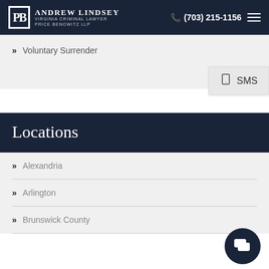Andrew Lindsey Virginia Criminal Lawyer Price Benowitz LLP | (703) 215-1156
Voluntary Surrender
SMS
Locations
Alexandria
Arlington
Brunswick County